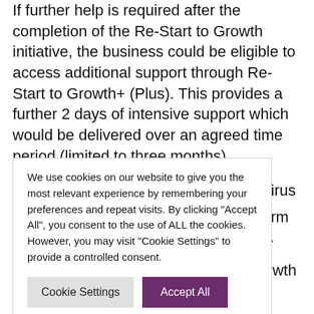If further help is required after the completion of the Re-Start to Growth initiative, the business could be eligible to access additional support through Re-Start to Growth+ (Plus). This provides a further 2 days of intensive support which would be delivered over an agreed time period (limited to three months).
Any business that is looking to re-establish or recover [partially obscured by cookie banner] e Coronavirus [partially obscured] it its long term [partially obscured] heffield City [partially obscured] Start to Growth
We use cookies on our website to give you the most relevant experience by remembering your preferences and repeat visits. By clicking "Accept All", you consent to the use of ALL the cookies. However, you may visit "Cookie Settings" to provide a controlled consent.
Cookie Settings | Accept All
org.uk